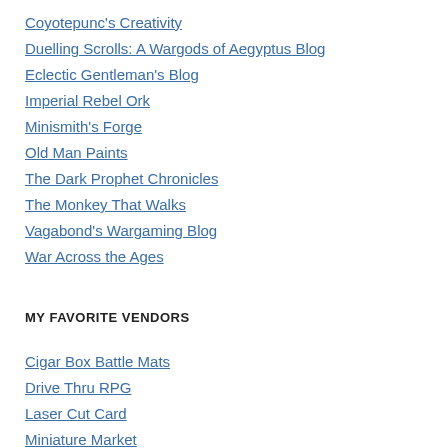Coyotepunc's Creativity
Duelling Scrolls: A Wargods of Aegyptus Blog
Eclectic Gentleman's Blog
Imperial Rebel Ork
Minismith's Forge
Old Man Paints
The Dark Prophet Chronicles
The Monkey That Walks
Vagabond's Wargaming Blog
War Across the Ages
MY FAVORITE VENDORS
Cigar Box Battle Mats
Drive Thru RPG
Laser Cut Card
Miniature Market
Pulp Figures